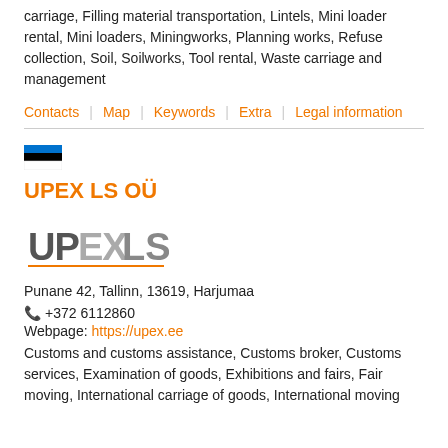carriage, Filling material transportation, Lintels, Mini loader rental, Mini loaders, Miningworks, Planning works, Refuse collection, Soil, Soilworks, Tool rental, Waste carriage and management
Contacts   Map   Keywords   Extra   Legal information
[Figure (illustration): Estonian flag icon - blue, black, white horizontal stripes]
UPEX LS OÜ
[Figure (logo): UPEX LS company logo in grey with stylized text]
Punane 42, Tallinn, 13619, Harjumaa
📞 +372 6112860
Webpage: https://upex.ee
Customs and customs assistance, Customs broker, Customs services, Examination of goods, Exhibitions and fairs, Fair moving, International carriage of goods, International moving